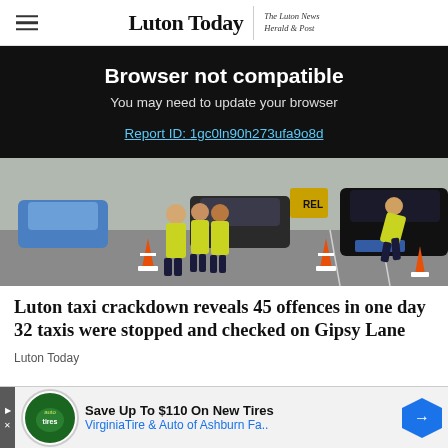Luton Today | The Luton News Herald & Post
Browser not compatible
You may need to update your browser
Report ID: 1gc0ln90h273ufa9o8d
[Figure (photo): Police officers in high-visibility jackets conducting a taxi checkpoint on Gipsy Lane, with cars and traffic cones visible in a car park area.]
Luton taxi crackdown reveals 45 offences in one day 32 taxis were stopped and checked on Gipsy Lane
Luton Today
Save Up To $110 On New Tires
VirginiaTire & Auto of Ashburn Fa..